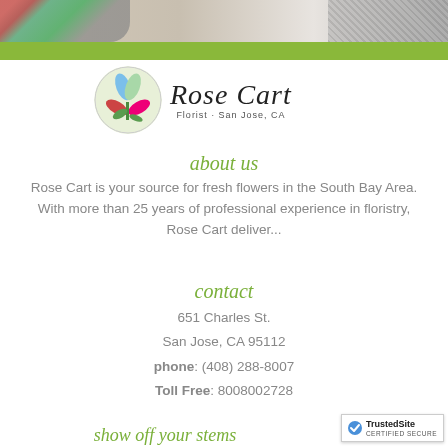[Figure (photo): Header banner with flowers on left and laptop on right, with olive green bar below]
[Figure (logo): Rose Cart florist logo: circular flower illustration next to italic Rose Cart text with subtitle Florist · San Jose, CA]
about us
Rose Cart is your source for fresh flowers in the South Bay Area. With more than 25 years of professional experience in floristry, Rose Cart deliver...
contact
651 Charles St.
San Jose, CA 95112
phone: (408) 288-8007
Toll Free: 8008002728
show off your stems
[Figure (logo): TrustedSite Certified Secure badge in bottom right corner]